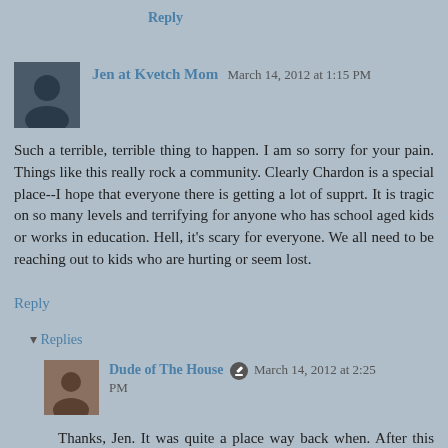Reply
Jen at Kvetch Mom March 14, 2012 at 1:15 PM
Such a terrible, terrible thing to happen. I am so sorry for your pain. Things like this really rock a community. Clearly Chardon is a special place--I hope that everyone there is getting a lot of supprt. It is tragic on so many levels and terrifying for anyone who has school aged kids or works in education. Hell, it's scary for everyone. We all need to be reaching out to kids who are hurting or seem lost.
Reply
▾ Replies
Dude of The House March 14, 2012 at 2:25 PM
Thanks, Jen. It was quite a place way back when. After this story, I want to go back and visit again, as I haven't been there in probably 15 years.